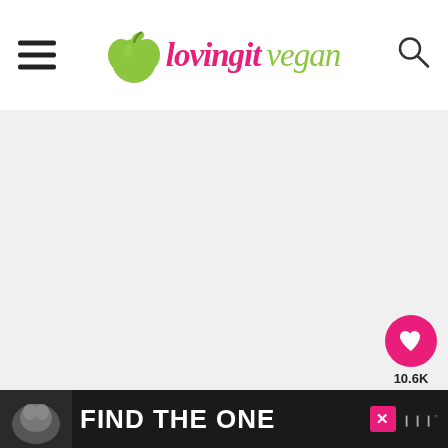loving it vegan
[Figure (other): Large blank/light gray content area placeholder]
10.6K
WHAT'S NEXT → Vegan Ice Cream (The....
« Vegan Chocolate Peanut Butter Fudge
[Figure (other): Advertisement banner: dog image with text FIND THE ONE]
FIND THE ONE